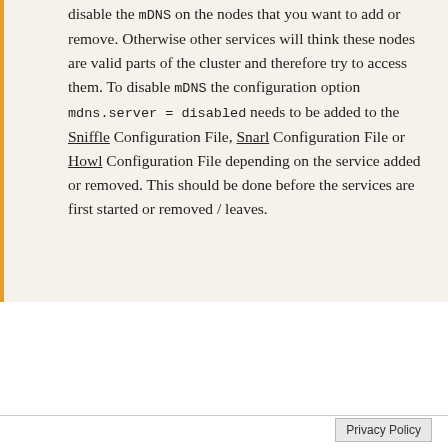disable the mDNS on the nodes that you want to add or remove. Otherwise other services will think these nodes are valid parts of the cluster and therefore try to access them. To disable mDNS the configuration option mdns.server = disabled needs to be added to the Sniffle Configuration File, Snarl Configuration File or Howl Configuration File depending on the service added or removed. This should be done before the services are first started or removed / leaves.
In the following section the existing server will be named sniffle@10.0.0.1 and the new server will be named sniffle@10.0.0.2 . If multiple servers exist it does not matter which one is picked. Also keep in mind that for working with a Howl or Snarl cluster the section before the @ needs to be replaced with howl or snarl respectively.
Privacy Policy